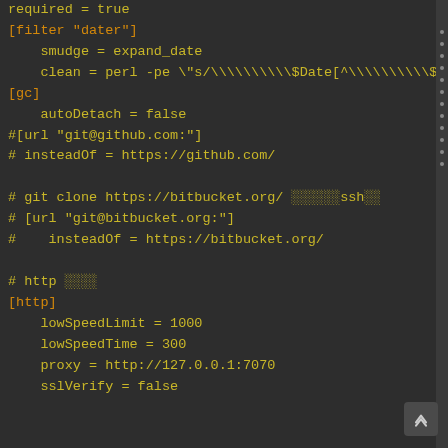required = true
[filter "dater"]
    smudge = expand_date
    clean = perl -pe \"s/\\\\\\$Date[^\\\\\\$]
[gc]
    autoDetach = false
#[url "git@github.com:"]
# insteadOf = https://github.com/

# git clone https://bitbucket.org/ ░░░░░░ssh░░
# [url "git@bitbucket.org:"]
#    insteadOf = https://bitbucket.org/

# http ░░░░
[http]
    lowSpeedLimit = 1000
    lowSpeedTime = 300
    proxy = http://127.0.0.1:7070
    sslVerify = false